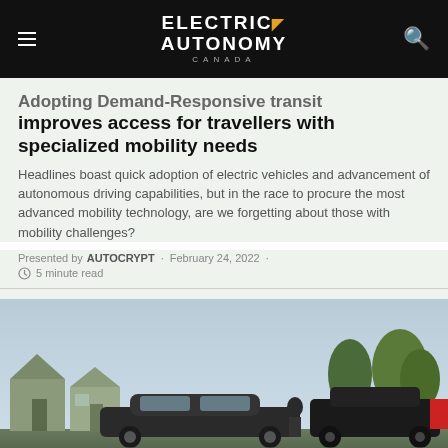Electric Autonomy Canada
Adopting Demand-Responsive transit improves access for travellers with specialized mobility needs
Headlines boast quick adoption of electric vehicles and advancement of autonomous driving capabilities, but in the race to procure the most advanced mobility technology, are we forgetting about those with mobility challenges?
Presented by AUTOCRYPT · February 24, 2022 · 5 minute read
[Figure (photo): Street scene with a car parked in a suburban neighborhood with houses and trees in the background]